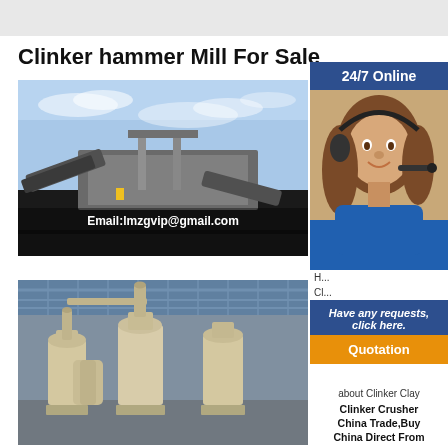Clinker hammer Mill For Sale
[Figure (photo): Outdoor industrial machinery/conveyor equipment with blue sky background, email watermark: Email:lmzgvip@gmail.com]
[Figure (photo): Indoor industrial mill equipment inside large factory building with metal roof]
[Figure (photo): 24/7 Online sidebar with customer service woman wearing headset, Have any requests click here. Quotation button]
about Clinker Clay
Clinker Crusher China Trade,Buy China Direct From Clinker (100% Original Sale) Mobile Hammer Mill ...